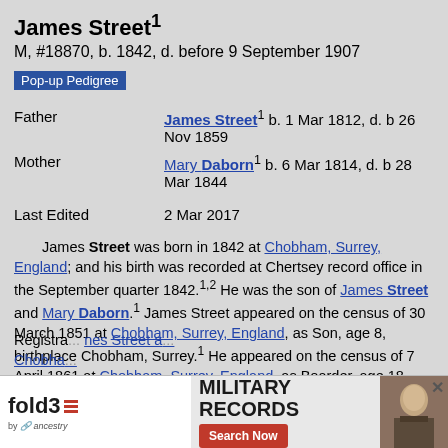James Street¹
M, #18870, b. 1842, d. before 9 September 1907
Pop-up Pedigree
| Field | Value |
| --- | --- |
| Father | James Street¹ b. 1 Mar 1812, d. b 26 Nov 1859 |
| Mother | Mary Daborn¹ b. 6 Mar 1814, d. b 28 Mar 1844 |
| Last Edited | 2 Mar 2017 |
James Street was born in 1842 at Chobham, Surrey, England; and his birth was recorded at Chertsey record office in the September quarter 1842.¹·² He was the son of James Street and Mary Daborn.¹ James Street appeared on the census of 30 March 1851 at Chobham, Surrey, England, as Son, age 8, birthplace Chobham, Surrey.¹ He appeared on the census of 7 April 1861 at Chobham, Surrey, England, as Boarder, age 18, birthplace Bisley, Surrey.³ He married Jane Jelley in 1864; and their marriage was recorded at St Saviours Registra... nes Street a... Chobha...
[Figure (other): fold3 Military Records advertisement banner with Search Now button and photo of soldier]